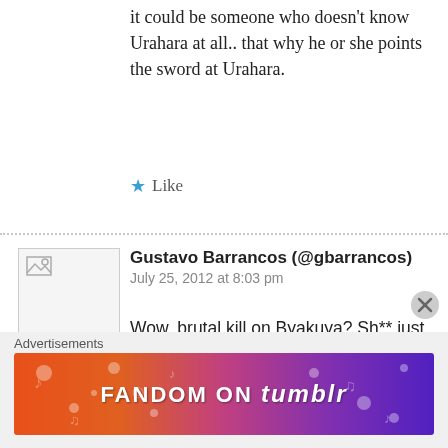it could be someone who doesn't know Urahara at all.. that why he or she points the sword at Urahara.
Like
Gustavo Barrancos (@gbarrancos)
July 25, 2012 at 8:03 pm
Wow, brutal kill on Byakuya? Sh** just got serious. My jaw dropped when i saw that bloodied wall. Last time i was this shocked was when Aizen was found dead with the sword stabbed in his chest in
I really love Byakuya's character, but i truly
Reply
Advertisements
[Figure (illustration): Fandom on Tumblr advertisement banner with colorful gradient background]